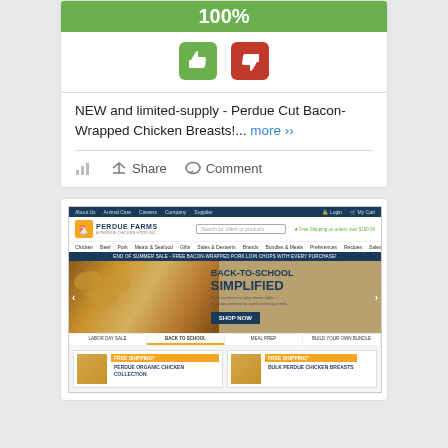[Figure (screenshot): Progress bar showing 100% with thumbs up (green) and thumbs down (red) icons below]
NEW and limited-supply - Perdue Cut Bacon-Wrapped Chicken Breasts!... more ››
Share  Comment
[Figure (screenshot): Screenshot of Perdue Farms website showing navigation, logo, search bar, category menu, and a hero banner reading BACK-TO-SCHOOL SIMPLIFIED with a SHOP NOW button and chicken dish photography]